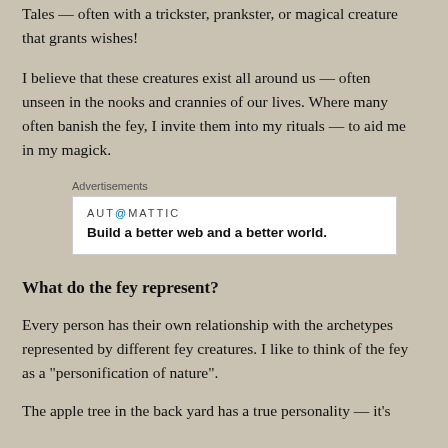Tales — often with a trickster, prankster, or magical creature that grants wishes!
I believe that these creatures exist all around us — often unseen in the nooks and crannies of our lives. Where many often banish the fey, I invite them into my rituals — to aid me in my magick.
[Figure (other): Automattic advertisement box: 'AUT@MATTIC — Build a better web and a better world.']
What do the fey represent?
Every person has their own relationship with the archetypes represented by different fey creatures. I like to think of the fey as a “personification of nature”.
The apple tree in the back yard has a true personality — it's